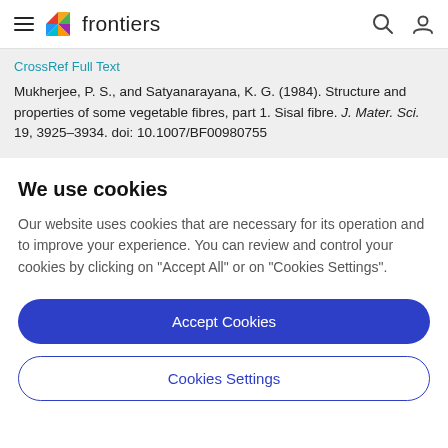frontiers
CrossRef Full Text
Mukherjee, P. S., and Satyanarayana, K. G. (1984). Structure and properties of some vegetable fibres, part 1. Sisal fibre. J. Mater. Sci. 19, 3925–3934. doi: 10.1007/BF00980755
We use cookies
Our website uses cookies that are necessary for its operation and to improve your experience. You can review and control your cookies by clicking on "Accept All" or on "Cookies Settings".
Accept Cookies
Cookies Settings